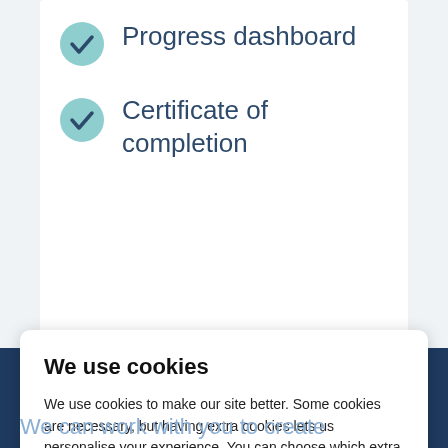Progress dashboard
Certificate of completion
We use cookies
We use cookies to make our site better. Some cookies are necessary, but having extra cookies lets us personalise your experience. You can choose which extra cookies you are happy for us to use. Manage your cookies
ACCEPT ALL
REJECT ALL
We can work with you to create